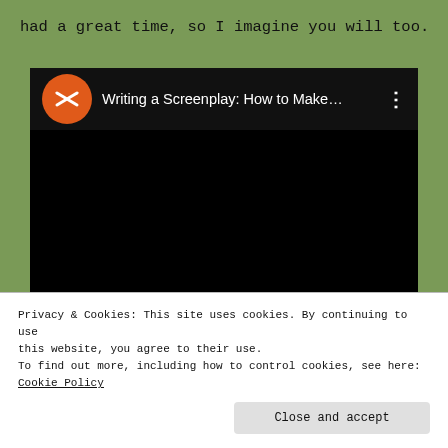had a great time, so I imagine you will too.
[Figure (screenshot): Embedded YouTube video player with orange channel icon and title 'Writing a Screenplay: How to Make...' on dark background, with three-dot menu icon]
Privacy & Cookies: This site uses cookies. By continuing to use this website, you agree to their use.
To find out more, including how to control cookies, see here:
Cookie Policy
Close and accept